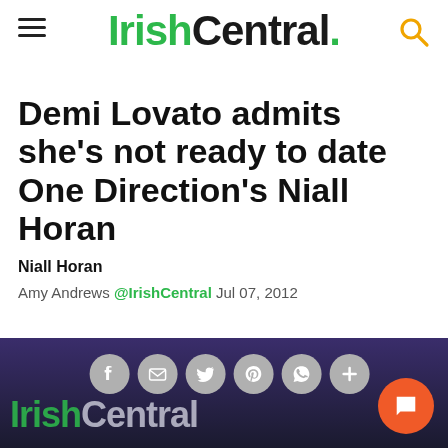IrishCentral.
Demi Lovato admits she’s not ready to date One Direction’s Niall Horan
Niall Horan
Amy Andrews @IrishCentral Jul 07, 2012
[Figure (screenshot): Bottom bar with IrishCentral logo, social sharing buttons (Facebook, email, Twitter, Pinterest, WhatsApp, plus), and an orange chat button]